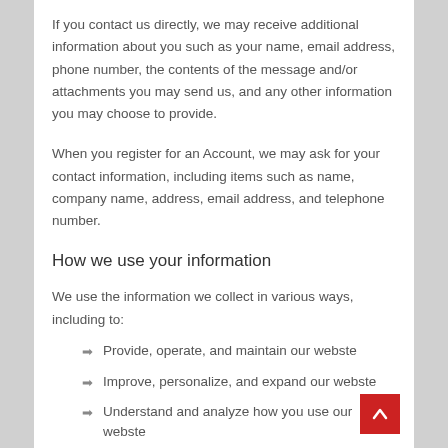If you contact us directly, we may receive additional information about you such as your name, email address, phone number, the contents of the message and/or attachments you may send us, and any other information you may choose to provide.
When you register for an Account, we may ask for your contact information, including items such as name, company name, address, email address, and telephone number.
How we use your information
We use the information we collect in various ways, including to:
Provide, operate, and maintain our webste
Improve, personalize, and expand our webste
Understand and analyze how you use our webste
Develop new products, services, features, and functionality